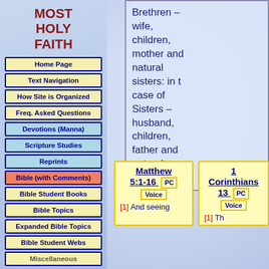MOST HOLY FAITH
Home Page
Text Navigation
How Site is Organized
Freq. Asked Questions
Devotions (Manna)
Scripture Studies
Reprints
Bible (with Comments)
Bible Student Books
Bible Topics
Expanded Bible Topics
Bible Student Webs
Miscellaneous
Brethren – wife, children, mother and natural sisters: in the case of Sisters – husband, children, father and natural brothers.
Matthew 5:1-16 PC Voice [1] And seeing
1 Corinthians 13 PC Voice [1] Th